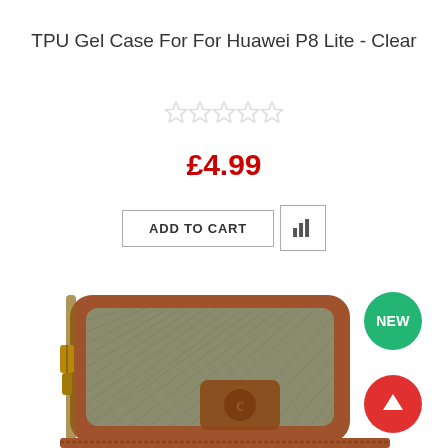TPU Gel Case For For Huawei P8 Lite - Clear
[Figure (other): Five empty star rating icons (no fill)]
£4.99
[Figure (other): ADD TO CART button and a compare/chart icon button side by side]
[Figure (photo): Photo of a brown herringbone tweed and leather small crossbody bag with zipper and logo patch, partially cropped at bottom]
[Figure (other): Green circular badge with text NEW]
[Figure (other): Red circular scroll-to-top button with upward arrow]